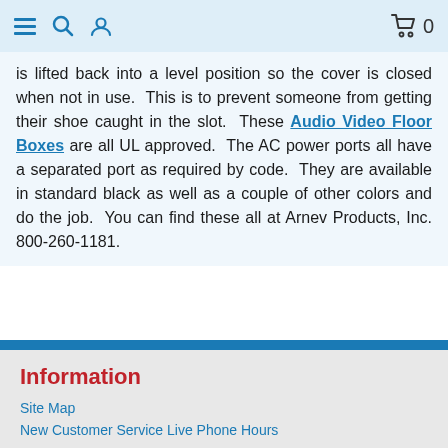Navigation bar with hamburger menu, search, user icons and cart (0)
is lifted back into a level position so the cover is closed when not in use.  This is to prevent someone from getting their shoe caught in the slot.  These Audio Video Floor Boxes are all UL approved.  The AC power ports all have a separated port as required by code.  They are available in standard black as well as a couple of other colors and do the job.  You can find these all at Arnev Products, Inc. 800-260-1181.
Information
Site Map
New Customer Service Live Phone Hours